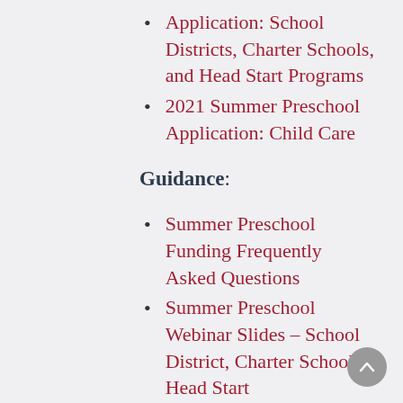Application: School Districts, Charter Schools, and Head Start Programs
2021 Summer Preschool Application: Child Care
Guidance:
Summer Preschool Funding Frequently Asked Questions
Summer Preschool Webinar Slides – School District, Charter School, Head Start
Summer Preschool Webinar Slides – Child Care